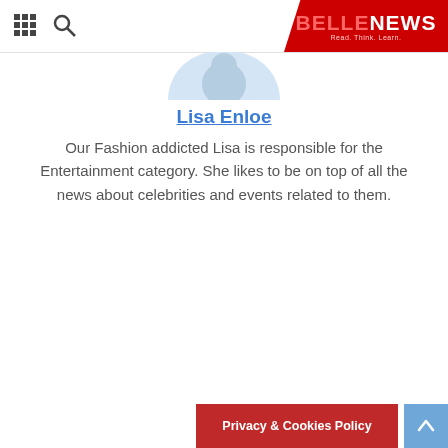BELLENEWS — Read. Think. Learn.
Lisa Enloe
Our Fashion addicted Lisa is responsible for the Entertainment category. She likes to be on top of all the news about celebrities and events related to them.
Privacy & Cookies Policy